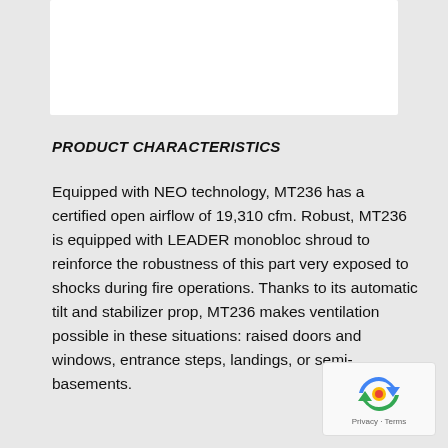[Figure (other): White rectangular box at top of page, likely a product image placeholder]
PRODUCT CHARACTERISTICS
Equipped with NEO technology, MT236 has a certified open airflow of 19,310 cfm. Robust, MT236 is equipped with LEADER monobloc shroud to reinforce the robustness of this part very exposed to shocks during fire operations. Thanks to its automatic tilt and stabilizer prop, MT236 makes ventilation possible in these situations: raised doors and windows, entrance steps, landings, or semi-basements.